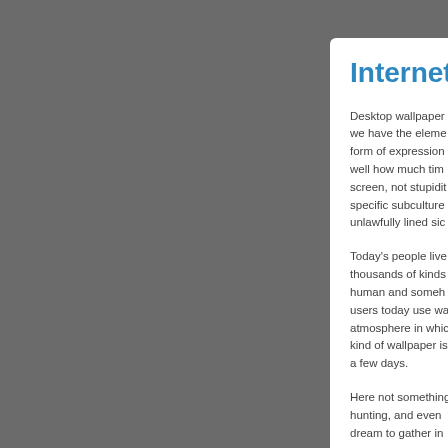Internet De
Desktop wallpaper we have the elements form of expression. well how much time screen, not stupidity specific subculture unlawfully lined sic
Today's people live thousands of kinds human and someh users today use wa atmosphere in whic kind of wallpaper is a few days.
Here not something hunting, and even dream to gather in